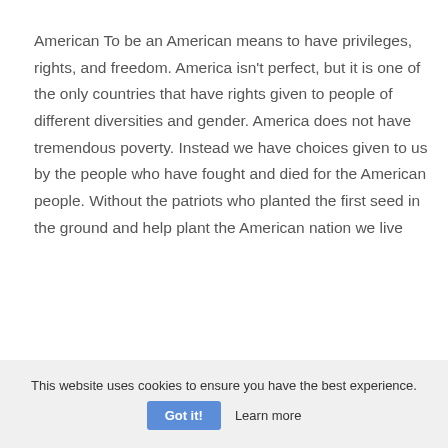American To be an American means to have privileges, rights, and freedom. America isn't perfect, but it is one of the only countries that have rights given to people of different diversities and gender. America does not have tremendous poverty. Instead we have choices given to us by the people who have fought and died for the American people. Without the patriots who planted the first seed in the ground and help plant the American nation we live
This website uses cookies to ensure you have the best experience. Got it! Learn more